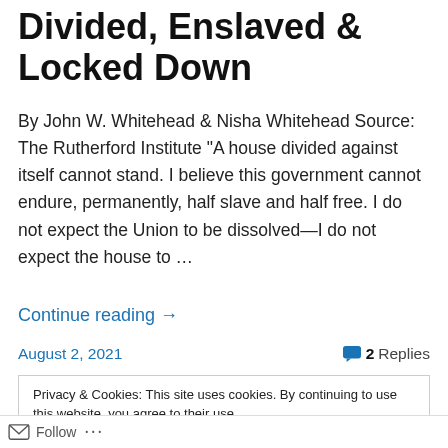Divided, Enslaved & Locked Down
By John W. Whitehead & Nisha Whitehead Source: The Rutherford Institute “A house divided against itself cannot stand. I believe this government cannot endure, permanently, half slave and half free. I do not expect the Union to be dissolved—I do not expect the house to …
Continue reading →
August 2, 2021        2 Replies
Privacy & Cookies: This site uses cookies. By continuing to use this website, you agree to their use.
To find out more, including how to control cookies, see here: Cookie Policy
Close and accept
Follow …